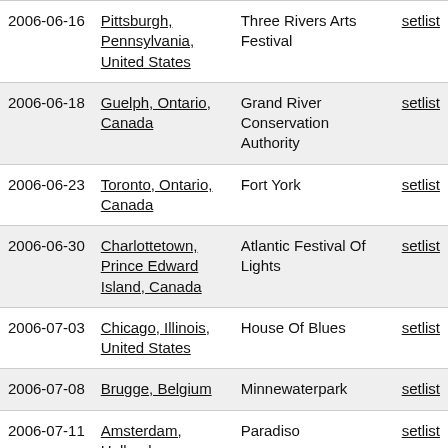| Date | Location | Venue |  |
| --- | --- | --- | --- |
| 2006-06-16 | Pittsburgh, Pennsylvania, United States | Three Rivers Arts Festival | setlist |
| 2006-06-18 | Guelph, Ontario, Canada | Grand River Conservation Authority | setlist |
| 2006-06-23 | Toronto, Ontario, Canada | Fort York | setlist |
| 2006-06-30 | Charlottetown, Prince Edward Island, Canada | Atlantic Festival Of Lights | setlist |
| 2006-07-03 | Chicago, Illinois, United States | House Of Blues | setlist |
| 2006-07-08 | Brugge, Belgium | Minnewaterpark | setlist |
| 2006-07-11 | Amsterdam, Holland | Paradiso | setlist |
| 2006-07-15 | Ste. Adele, Quebec, Canada | Bourbon Street North | setlist |